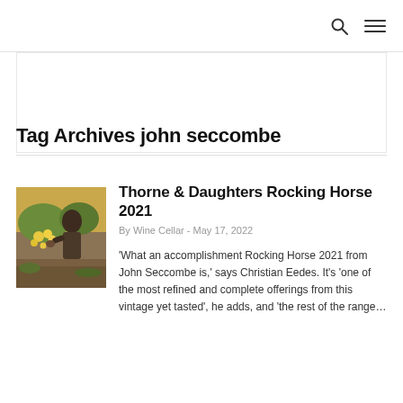[search icon] [menu icon]
Tag Archives john seccombe
[Figure (photo): A person examining plants outdoors, yellow flowers visible, warm tones]
Thorne & Daughters Rocking Horse 2021
By Wine Cellar - May 17, 2022
'What an accomplishment Rocking Horse 2021 from John Seccombe is,' says Christian Eedes. It's 'one of the most refined and complete offerings from this vintage yet tasted', he adds, and 'the rest of the range…